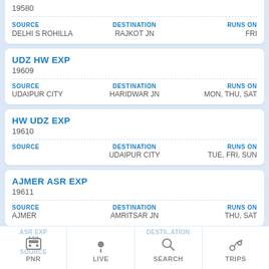19580
| SOURCE | DESTINATION | RUNS ON |
| --- | --- | --- |
| DELHI S ROHILLA | RAJKOT JN | FRI |
UDZ HW EXP
19609
| SOURCE | DESTINATION | RUNS ON |
| --- | --- | --- |
| UDAIPUR CITY | HARIDWAR JN | MON, THU, SAT |
HW UDZ EXP
19610
| SOURCE | DESTINATION | RUNS ON |
| --- | --- | --- |
|  | UDAIPUR CITY | TUE, FRI, SUN |
AJMER ASR EXP
19611
| SOURCE | DESTINATION | RUNS ON |
| --- | --- | --- |
| AJMER | AMRITSAR JN | THU, SAT |
PNR | LIVE | SEARCH | TRIPS